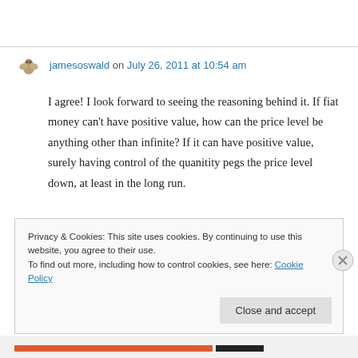jamesoswald on July 26, 2011 at 10:54 am
I agree! I look forward to seeing the reasoning behind it. If fiat money can't have positive value, how can the price level be anything other than infinite? If it can have positive value, surely having control of the quanitity pegs the price level down, at least in the long run.
Privacy & Cookies: This site uses cookies. By continuing to use this website, you agree to their use. To find out more, including how to control cookies, see here: Cookie Policy
Close and accept